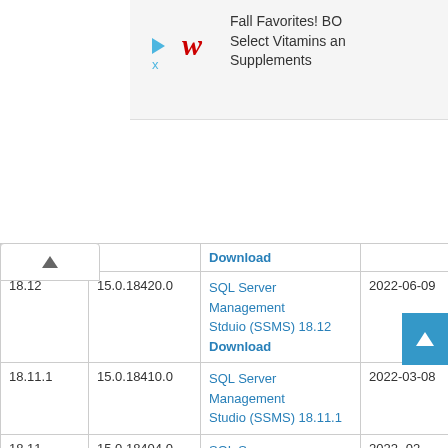[Figure (other): Advertisement banner for Walgreens Fall Favorites BOGO on Select Vitamins and Supplements]
|  |  | Download |  |
| --- | --- | --- | --- |
| 18.12 | 15.0.18420.0 | SQL Server Management Stduio (SSMS) 18.12 Download | 2022-06-09 |
| 18.11.1 | 15.0.18410.0 | SQL Server Management Studio (SSMS) 18.11.1 | 2022-03-08 |
| 18.11 | 15.0.18404.0 | SQL Server Management Studio (SSMS) 18.11 | 2022-02-22 |